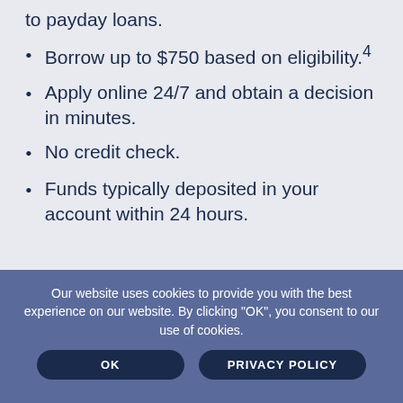to payday loans.
Borrow up to $750 based on eligibility.⁴
Apply online 24/7 and obtain a decision in minutes.
No credit check.
Funds typically deposited in your account within 24 hours.
Our website uses cookies to provide you with the best experience on our website. By clicking "OK", you consent to our use of cookies.
OK
PRIVACY POLICY